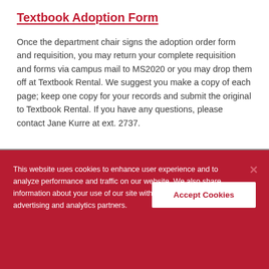Textbook Adoption Form
Once the department chair signs the adoption order form and requisition, you may return your complete requisition and forms via campus mail to MS2020 or you may drop them off at Textbook Rental. We suggest you make a copy of each page; keep one copy for your records and submit the original to Textbook Rental. If you have any questions, please contact Jane Kurre at ext. 2737.
This website uses cookies to enhance user experience and to analyze performance and traffic on our website. We also share information about your use of our site with our social media, advertising and analytics partners.